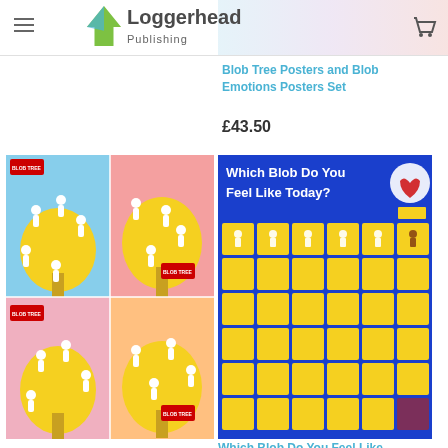Loggerhead Publishing
Blob Tree Posters and Blob Emotions Posters Set
£43.50
[Figure (photo): Blob Tree posters collage showing multiple colorful panels with white figure illustrations on a yellow tree]
[Figure (photo): Which Blob Do You Feel Like Today? poster with blue background and grid of yellow squares showing blob emotion figures]
Which Blob Do You Feel Like